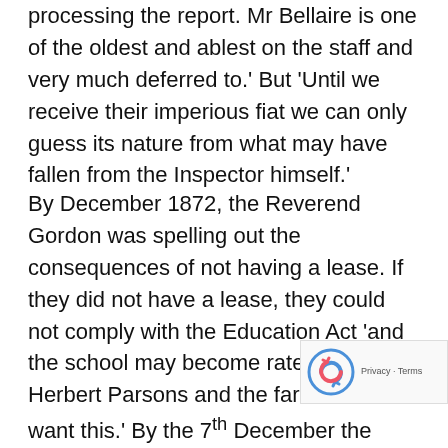processing the report. Mr Bellaire is one of the oldest and ablest on the staff and very much deferred to.' But 'Until we receive their imperious fiat we can only guess its nature from what may have fallen from the Inspector himself.'
By December 1872, the Reverend Gordon was spelling out the consequences of not having a lease. If they did not have a lease, they could not comply with the Education Act 'and the school may become rate funded. Mr Herbert Parsons and the farmers do not want this.' By the 7th December the vicar was replying to Colonel North that a 21 year lease would solve all their problems and they would accept on any terms. The churchwardens, who would be signatories to the lease, were Mr Herbert Parsons and both him...